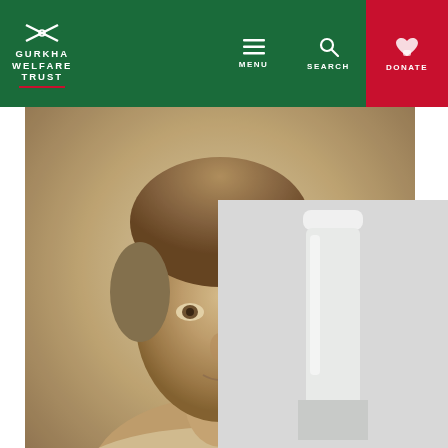GURKHA WELFARE TRUST | MENU | SEARCH | DONATE
[Figure (photo): Sepia portrait photograph of Colin's grandmother Ruth Lodge, a woman from the Victorian/Edwardian era with her hair up, wearing a light-coloured blouse with a corsage/flower at the chest]
Colin's grandmother Ruth Lodge
This website uses cookies to ensure you get the best experience on our website.
View our cookie policy
I Agree
Whe[n Gurkha soldiers were billeted in her] home[…Ruth] Lodge, she went above and beyond to make them fe[el] welcome. In 1915, one of the soldiers gave Ruth a bottle of
[Figure (photo): Partial view of a bottle, likely a historical bottle, shown at bottom right of the page]